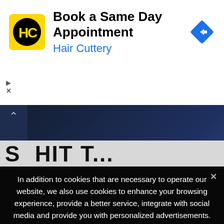[Figure (logo): Hair Cuttery logo - yellow square with HC letters in black circle, and blue navigation diamond icon on right]
Book a Same Day Appointment
Hair Cuttery
[Figure (photo): Partially visible dark blue webpage background with people silhouettes]
In addition to cookies that are necessary to operate our website, we also use cookies to enhance your browsing experience, provide a better service, integrate with social media and provide you with personalized advertisements. To accept the use of cookies and continue on to the site, click “Agree and Proceed”. For more information about our use of cookies see our Cookies Policy.
Agree and Proceed  Cookies Policy